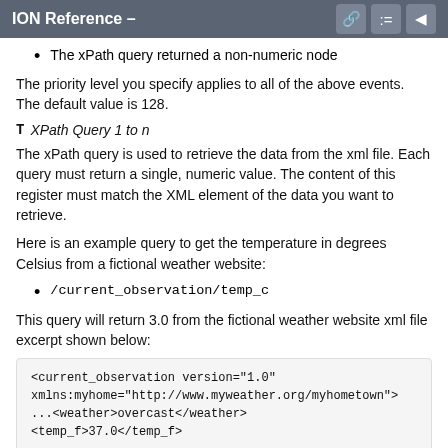ION Reference –
The xPath query returned a non-numeric node
The priority level you specify applies to all of the above events. The default value is 128.
T XPath Query 1 to n
The xPath query is used to retrieve the data from the xml file. Each query must return a single, numeric value. The content of this register must match the XML element of the data you want to retrieve.
Here is an example query to get the temperature in degrees Celsius from a fictional weather website:
/current_observation/temp_c
This query will return 3.0 from the fictional weather website xml file excerpt shown below:
<current_observation version="1.0"
xmlns:myhome="http://www.myweather.org/myhometown">
...<weather>overcast</weather>
<temp_f>37.0</temp_f>